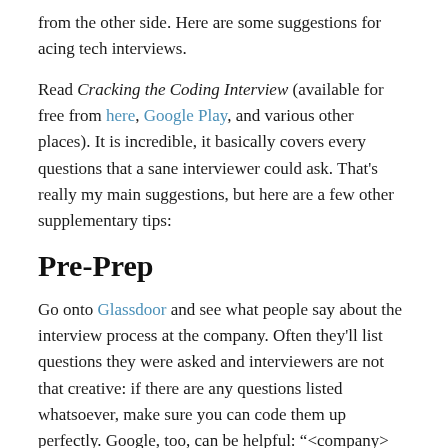from the other side. Here are some suggestions for acing tech interviews.
Read Cracking the Coding Interview (available for free from here, Google Play, and various other places). It is incredible, it basically covers every questions that a sane interviewer could ask. That's really my main suggestions, but here are a few other supplementary tips:
Pre-Prep
Go onto Glassdoor and see what people say about the interview process at the company. Often they'll list questions they were asked and interviewers are not that creative: if there are any questions listed whatsoever, make sure you can code them up perfectly. Google, too, can be helpful: "<company> phone screen" or "<company> interview" often will give you other possible questions.